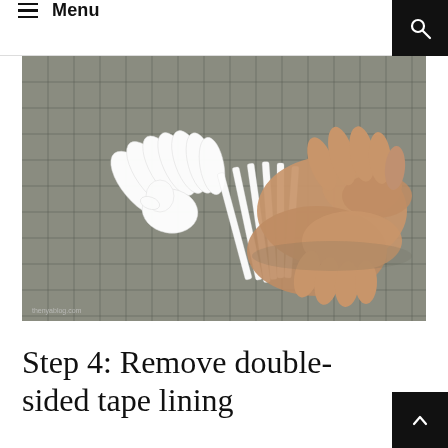Menu
[Figure (photo): Hands holding a white paper cut-out phoenix or bird figure on a gray gridded cutting mat background. The paper art has intricate feather-like cut shapes. A watermark reads 'thenyablog.com' in the lower left corner.]
Step 4: Remove double-sided tape lining